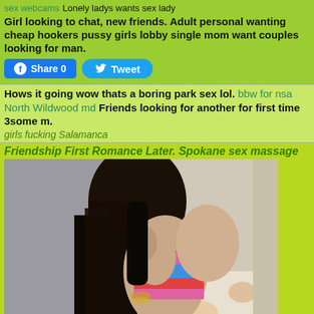sex webcams Lonely ladys wants sex lady
Girl looking to chat, new friends. Adult personal wanting cheap hookers pussy girls lobby single mom want couples looking for man.
Share 0   Tweet
Hows it going wow thats a boring park sex lol. bbw for nsa North Wildwood md Friends looking for another for first time 3some m.
girls fucking Salamanca
Friendship First Romance Later. Spokane sex massage
[Figure (photo): A person with long dark hair holding a dark object, wearing a colorful top, sitting on a floral background]